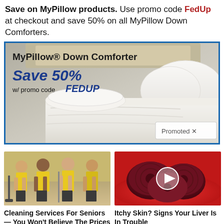Save on MyPillow products. Use promo code FedUp at checkout and save 50% on all MyPillow Down Comforters.
[Figure (photo): MyPillow Down Comforter advertisement banner showing a white comforter on a bed with text 'Save 50% w/ promo code FEDUP' and a 'Promoted' badge]
[Figure (photo): Four women in yellow uniforms holding cleaning equipment]
Cleaning Services For Seniors — You Won't Believe The Prices
🔥 6,039
[Figure (photo): Sliced beets on a red plate with a video play button overlay]
Itchy Skin? Signs Your Liver Is In Trouble
🔥 2,071